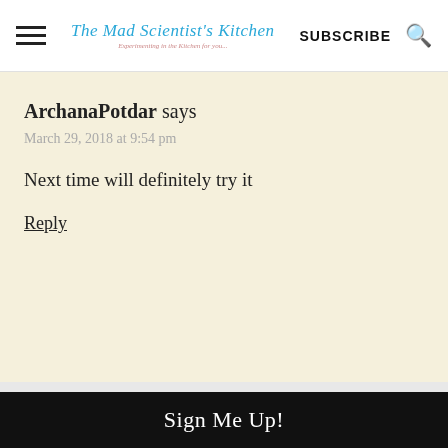The Mad Scientist's Kitchen | SUBSCRIBE
ArchanaPotdar says
March 29, 2018 at 9:54 pm
Next time will definitely try it
Reply
By visiting our site, you agree to our privacy policy regarding cookies, tracking statistics, etc.
ACCEPT
X
Sign Me Up!